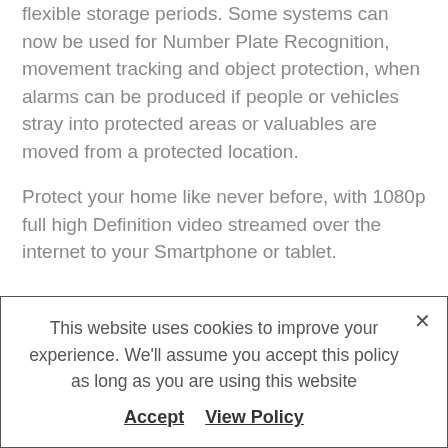ability to go back and review past events, with flexible storage periods. Some systems can now be used for Number Plate Recognition, movement tracking and object protection, when alarms can be produced if people or vehicles stray into protected areas or valuables are moved from a protected location.
Protect your home like never before, with 1080p full high Definition video streamed over the internet to your Smartphone or tablet.
This website uses cookies to improve your experience. We'll assume you accept this policy as long as you are using this website
Accept   View Policy